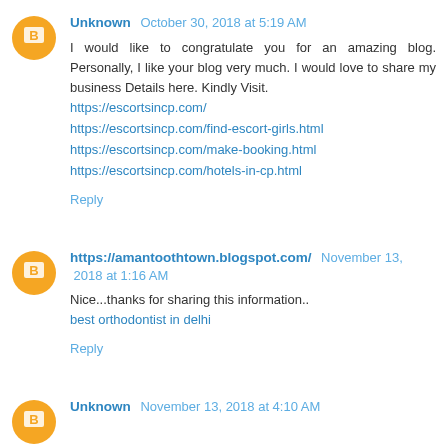Unknown October 30, 2018 at 5:19 AM
I would like to congratulate you for an amazing blog. Personally, I like your blog very much. I would love to share my business Details here. Kindly Visit.
https://escortsincp.com/
https://escortsincp.com/find-escort-girls.html
https://escortsincp.com/make-booking.html
https://escortsincp.com/hotels-in-cp.html
Reply
https://amantoothtown.blogspot.com/ November 13, 2018 at 1:16 AM
Nice...thanks for sharing this information..
best orthodontist in delhi
Reply
Unknown November 13, 2018 at 4:10 AM